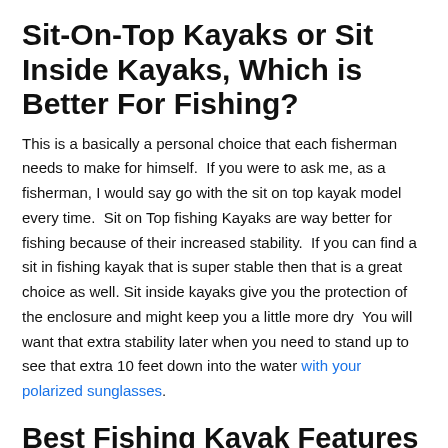Sit-On-Top Kayaks or Sit Inside Kayaks, Which is Better For Fishing?
This is a basically a personal choice that each fisherman needs to make for himself.  If you were to ask me, as a fisherman, I would say go with the sit on top kayak model every time.  Sit on Top fishing Kayaks are way better for fishing because of their increased stability.  If you can find a sit in fishing kayak that is super stable then that is a great choice as well. Sit inside kayaks give you the protection of the enclosure and might keep you a little more dry  You will want that extra stability later when you need to stand up to see that extra 10 feet down into the water with your polarized sunglasses.
Best Fishing Kayak Features To